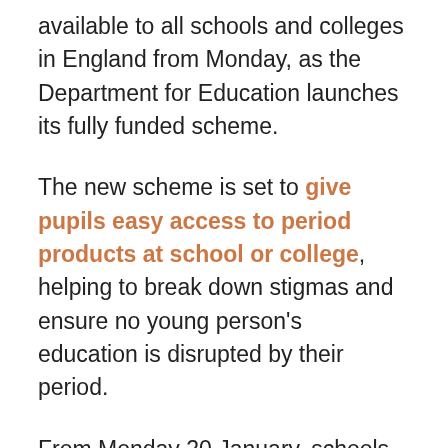available to all schools and colleges in England from Monday, as the Department for Education launches its fully funded scheme.
The new scheme is set to give pupils easy access to period products at school or college, helping to break down stigmas and ensure no young person's education is disrupted by their period.
From Monday 20 January, schools and colleges across the country will be able to order a range of period